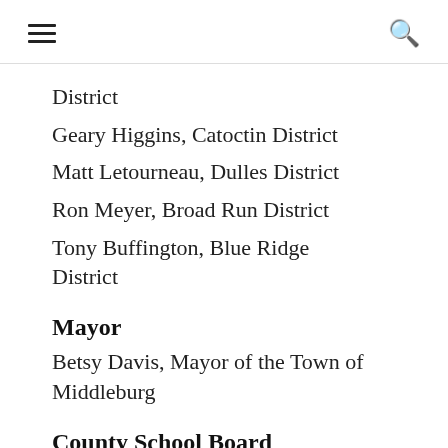District
Geary Higgins, Catoctin District
Matt Letourneau, Dulles District
Ron Meyer, Broad Run District
Tony Buffington, Blue Ridge District
Mayor
Betsy Davis, Mayor of the Town of Middleburg
County School Board
Beth Husk, At Large